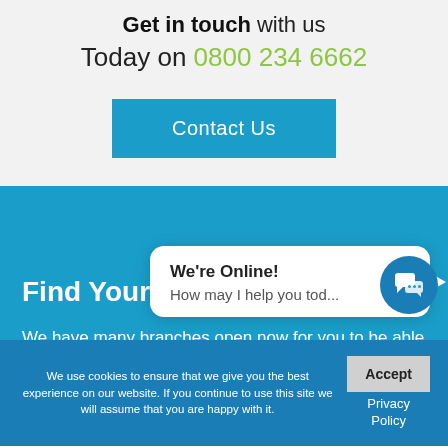Get in touch with us Today on 0800 234 6662
Contact Us
Find Your Local Store
We have many branches open now for you to be able to see, touch, feel and try products
We're Online! How may I help you tod...
We use cookies to ensure that we give you the best experience on our website. If you continue to use this site we will assume that you are happy with it.